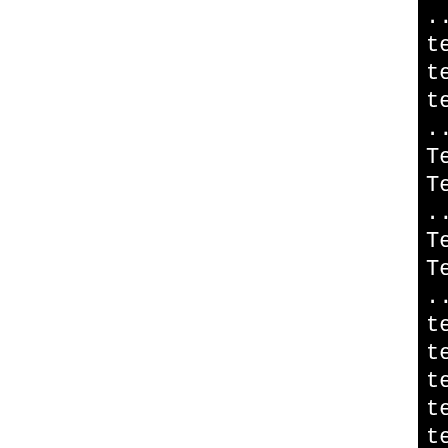[Figure (screenshot): Terminal/console output on black background showing shell script execution and test results. Left portion of page is white (document margin). Right portion shows black terminal with white monospace text: lines including '../util/shlib_wrap.sh ./sh', 'test 1 ok', 'test 2 ok', 'test 3 ok', '../util/shlib_wrap.sh ./sh', 'Testing SHA-256 ... passed', 'Testing SHA-224 ... passed', '../util/shlib_wrap.sh ./sh', 'Testing SHA-512 ... passed', 'Testing SHA-384 ... passed', '../util/shlib_wrap.sh ./mo', 'test 1 ok' through 'test 7 ok', '../util/shlib_wrap.sh ./mo', 'test 1 ok' through 'test 5 ok'.]